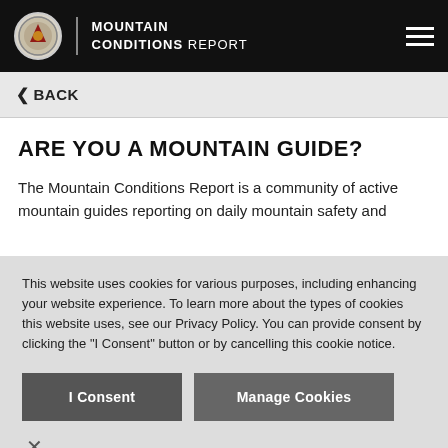MOUNTAIN CONDITIONS REPORT
BACK
ARE YOU A MOUNTAIN GUIDE?
The Mountain Conditions Report is a community of active mountain guides reporting on daily mountain safety and
This website uses cookies for various purposes, including enhancing your website experience. To learn more about the types of cookies this website uses, see our Privacy Policy. You can provide consent by clicking the "I Consent" button or by cancelling this cookie notice.
I Consent | Manage Cookies